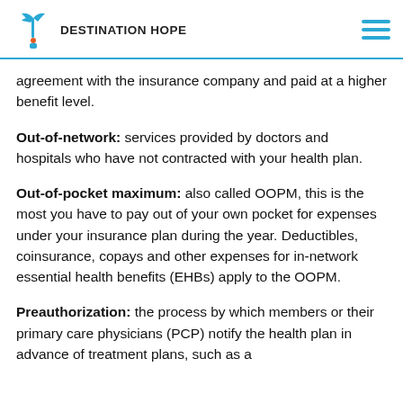DESTINATION HOPE
agreement with the insurance company and paid at a higher benefit level.
Out-of-network: services provided by doctors and hospitals who have not contracted with your health plan.
Out-of-pocket maximum: also called OOPM, this is the most you have to pay out of your own pocket for expenses under your insurance plan during the year. Deductibles, coinsurance, copays and other expenses for in-network essential health benefits (EHBs) apply to the OOPM.
Preauthorization: the process by which members or their primary care physicians (PCP) notify the health plan in advance of treatment plans, such as a